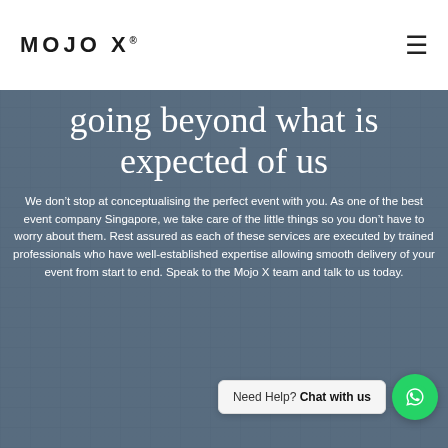MOJO X.
going beyond what is expected of us
We don't stop at conceptualising the perfect event with you. As one of the best event company Singapore, we take care of the little things so you don't have to worry about them. Rest assured as each of these services are executed by trained professionals who have well-established expertise allowing smooth delivery of your event from start to end. Speak to the Mojo X team and talk to us today.
Need Help? Chat with us